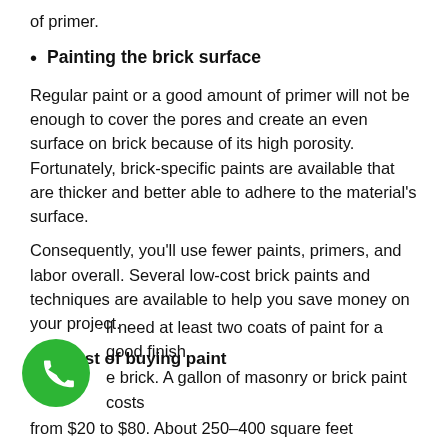of primer.
Painting the brick surface
Regular paint or a good amount of primer will not be enough to cover the pores and create an even surface on brick because of its high porosity. Fortunately, brick-specific paints are available that are thicker and better able to adhere to the material's surface.
Consequently, you'll use fewer paints, primers, and labor overall. Several low-cost brick paints and techniques are available to help you save money on your project.
The cost of buying paint
ll need at least two coats of paint for a good finish e brick. A gallon of masonry or brick paint costs
from $20 to $80. About 250–400 square feet